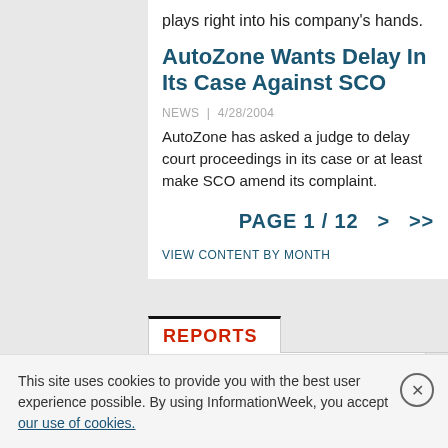plays right into his company's hands.
AutoZone Wants Delay In Its Case Against SCO
NEWS | 4/28/2004
AutoZone has asked a judge to delay court proceedings in its case or at least make SCO amend its complaint.
PAGE 1 / 12  >  >>
VIEW CONTENT BY MONTH
REPORTS
This site uses cookies to provide you with the best user experience possible. By using InformationWeek, you accept our use of cookies.